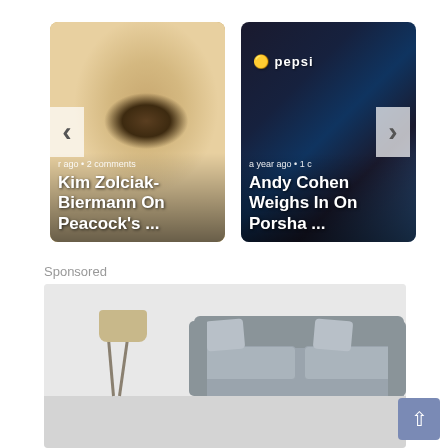[Figure (screenshot): Carousel of two article cards. Left card shows Kim Zolciak-Biermann's face with text '...r ago · 2 comments' and title 'Kim Zolciak-Biermann On Peacock's ...'. Right card shows Andy Cohen at Pepsi event with text 'a year ago · 1 c...' and title 'Andy Cohen Weighs In On Porsha ...'. Left/right navigation arrows visible.]
Sponsored
[Figure (photo): Sponsored image showing a minimalist living room interior with a gray sofa, decorative pillows, and a tripod floor lamp against a light gray wall.]